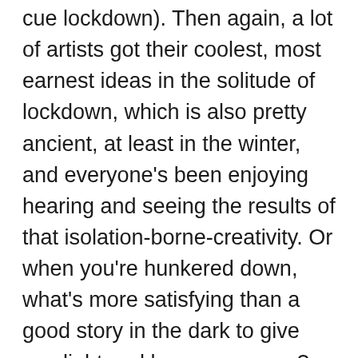cue lockdown). Then again, a lot of artists got their coolest, most earnest ideas in the solitude of lockdown, which is also pretty ancient, at least in the winter, and everyone's been enjoying hearing and seeing the results of that isolation-borne-creativity. Or when you're hunkered down, what's more satisfying than a good story in the dark to give you light and keep you warm?
And the funny thing is that digital forms emulate the oral storytelling experience — Spotify shares songs about stories; Netflix has shows about time periods when oral storytelling would have been commonplace and sometimes the only way to pass things down (see: Vikings). So it's always going to be around. The